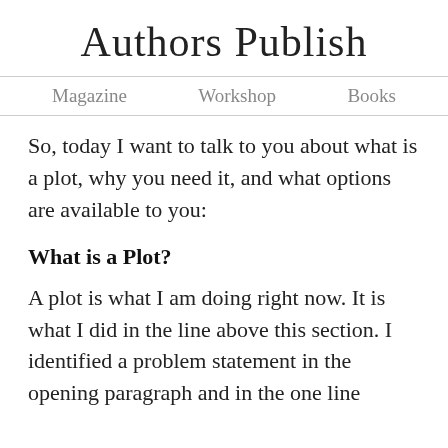Authors Publish
Magazine   Workshop   Books
So, today I want to talk to you about what is a plot, why you need it, and what options are available to you:
What is a Plot?
A plot is what I am doing right now. It is what I did in the line above this section. I identified a problem statement in the opening paragraph and in the one line